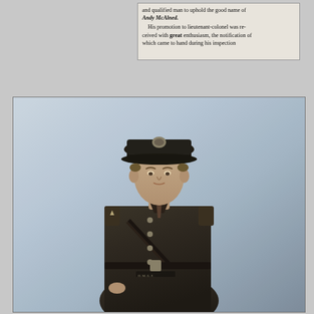and qualified man to uphold the good name of Andy McAlned. His promotion to lieutenant-colonel was received with great enthusiasm, the notification of which came to hand during his inspection
[Figure (photo): Black and white portrait photograph of a young military officer in World War I era British Army uniform, wearing a peaked cap with badge, standing in a formal pose with a Sam Browne belt and shoulder insignia visible]